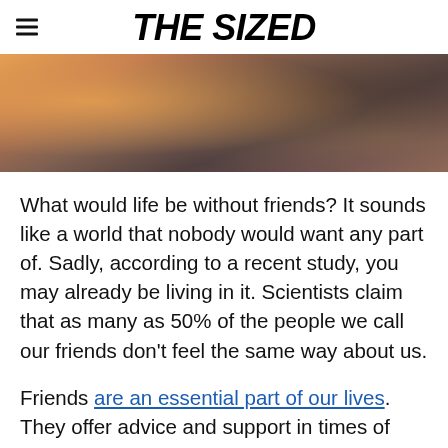THE SIZED
[Figure (photo): Hero banner photo showing a blurred warm-toned background with a person holding something, orange and dark tones]
What would life be without friends? It sounds like a world that nobody would want any part of. Sadly, according to a recent study, you may already be living in it. Scientists claim that as many as 50% of the people we call our friends don't feel the same way about us.
Friends are an essential part of our lives. They offer advice and support in times of hardship and cheer us on from the sidelines when we achieve our